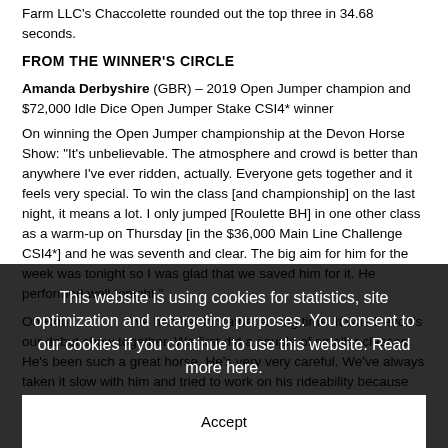Farm LLC's Chaccolette rounded out the top three in 34.68 seconds.
FROM THE WINNER'S CIRCLE
Amanda Derbyshire (GBR) – 2019 Open Jumper champion and $72,000 Idle Dice Open Jumper Stake CSI4* winner
On winning the Open Jumper championship at the Devon Horse Show: "It's unbelievable. The atmosphere and crowd is better than anywhere I've ever ridden, actually. Everyone gets together and it feels very special. To win the class [and championship] on the last night, it means a lot. I only jumped [Roulette BH] in one other class as a warm-up on Thursday [in the $36,000 Main Line Challenge CSI4*] and he was seventh and clear. The big aim for him for the week was tonight so I was glad that we saved him for it. He performed well tonight."
On Roulette BH: "I've had her for rather a long time. It was Devon's our debut show together. We first did a couple of smaller classes. He's been such a great horse. He's very very careful. We've always taken it slow with him and tried to work on his rideability because I'm little and
This website is using cookies for statistics, site optimization and retargeting purposes. You consent to our cookies if you continue to use this website. Read more here.
Accept